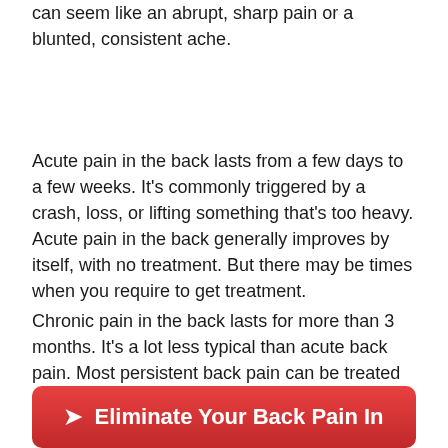can seem like an abrupt, sharp pain or a blunted, consistent ache.
Acute pain in the back lasts from a few days to a few weeks. It's commonly triggered by a crash, loss, or lifting something that's too heavy. Acute pain in the back generally improves by itself, with no treatment. But there may be times when you require to get treatment.
Chronic pain in the back lasts for more than 3 months. It's a lot less typical than acute back pain. Most persistent back pain can be treated without surgery.
[Figure (other): Red CTA button with arrow icon and text 'Eliminate Your Back Pain In']